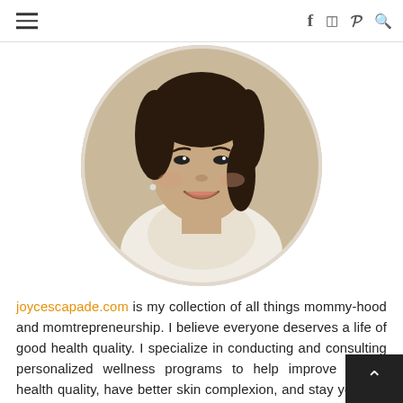Navigation bar with hamburger menu and social icons: facebook, instagram, pinterest, search
[Figure (photo): Circular profile photo of a smiling young Asian woman with dark hair, wearing a white lace high-neck dress. Photo is cropped in a circle.]
joycescapade.com is my collection of all things mommy-hood and momtrepreneurship. I believe everyone deserves a life of good health quality. I specialize in conducting and consulting personalized wellness programs to help improve overall health quality, have better skin complexion, and stay younger with youthful vigor and stamina. I create awareness about health and wellness as a sustainable lifestyle. This is my mission, vision, and passion.